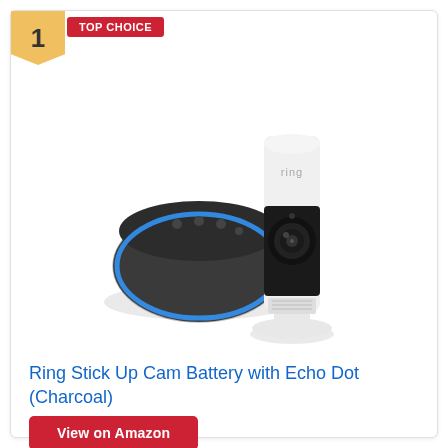[Figure (illustration): Badge showing number 1 in gold/yellow pentagon shape and red TOP CHOICE label]
[Figure (photo): Product photo showing Amazon Echo Dot (charcoal/dark grey fabric) and Ring Stick Up Cam (white cylindrical camera with black lens) side by side on white background]
Ring Stick Up Cam Battery with Echo Dot (Charcoal)
View on Amazon